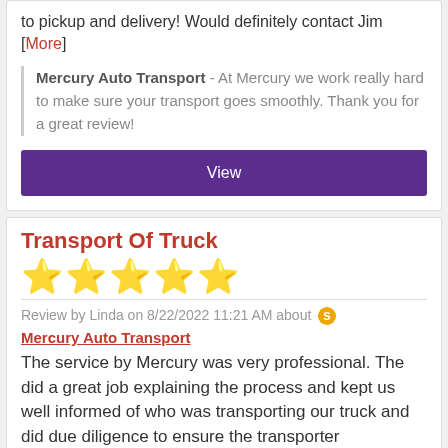to pickup and delivery! Would definitely contact Jim [More]
Mercury Auto Transport - At Mercury we work really hard to make sure your transport goes smoothly. Thank you for a great review!
View
Transport Of Truck
[Figure (other): Five gold star rating icons]
Review by Linda on 8/22/2022 11:21 AM about Mercury Auto Transport
Mercury Auto Transport
The service by Mercury was very professional. The did a great job explaining the process and kept us well informed of who was transporting our truck and did due diligence to ensure the transporter